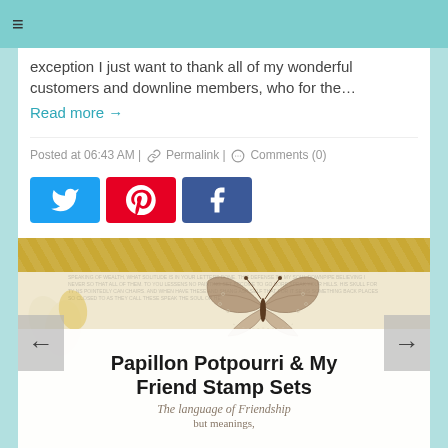≡
exception I just want to thank all of my wonderful customers and downline members, who for the...
Read more →
Posted at 06:43 AM | Permalink | Comments (0)
[Figure (infographic): Social media share buttons: Twitter (blue), Pinterest (red), Facebook (blue)]
[Figure (photo): Card image with butterfly and flowers, titled 'Papillon Potpourri & My Friend Stamp Sets' with subtitle 'The language of Friendship' and navigation arrows]
Papillon Potpourri & My Friend Stamp Sets
The language of Friendship
but meanings,